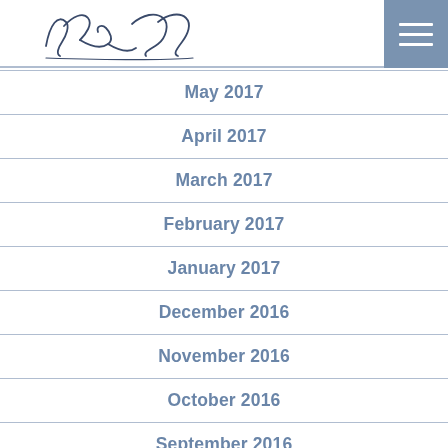[Figure (illustration): Handwritten signature in dark ink on white background]
May 2017
April 2017
March 2017
February 2017
January 2017
December 2016
November 2016
October 2016
September 2016
August 2016
July 2016